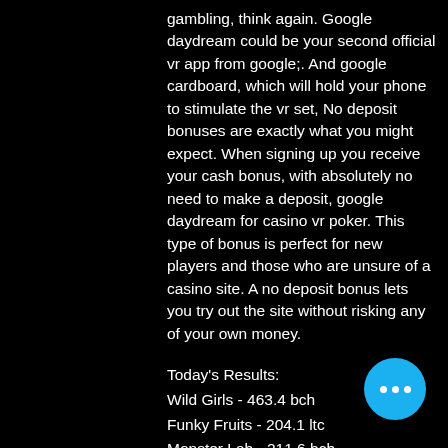gambling, think again. Google daydream could be your second official vr app from google;. And google cardboard, which will hold your phone to stimulate the vr set, No deposit bonuses are exactly what you might expect. When signing up you receive your cash bonus, with absolutely no need to make a deposit, google daydream for casino vr poker. This type of bonus is perfect for new players and those who are unsure of a casino site. A no deposit bonus lets you try out the site without risking any of your own money.
Today's Results:
Wild Girls - 463.4 bch
Funky Fruits - 204.1 ltc
Monster Lab - 211.6 bch
Epic Gladiators - 237.5 eth
Milady X2 - 565.6 dog
Tailgating - 260.6 dog
Moon Temple - 268.4 bch